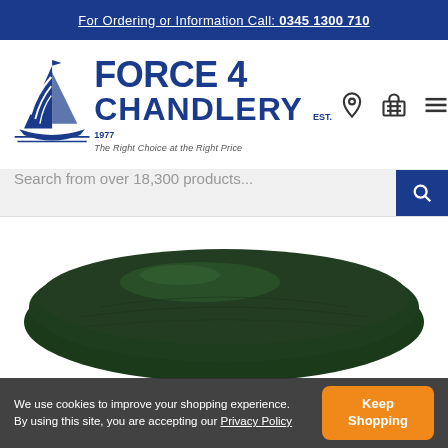For Ordering or Information Call: 0345 1300 710
[Figure (logo): Force 4 Chandlery logo with sailing boat icon, tagline 'The Right Choice at the Right Price', EST. 1977]
[Figure (screenshot): Search bar with placeholder text 'Search from over 18,300 products...' and blue search button with magnifying glass icon, plus location pin, basket, and hamburger menu icons]
[Figure (photo): Dark green product (appears to be a folded tarpaulin or cover) on white background]
We use cookies to improve your shopping experience. By using this site, you are accepting our Privacy Policy